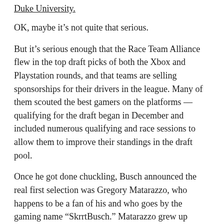Duke University.
OK, maybe it’s not quite that serious.
But it’s serious enough that the Race Team Alliance flew in the top draft picks of both the Xbox and Playstation rounds, and that teams are selling sponsorships for their drivers in the league. Many of them scouted the best gamers on the platforms — qualifying for the draft began in December and included numerous qualifying and race sessions to allow them to improve their standings in the draft pool.
Once he got done chuckling, Busch announced the real first selection was Gregory Matarazzo, who happens to be a fan of his and who goes by the gaming name “SkrrtBusch.” Matarazzo grew up racing go-karts, then became a fan of NASCAR, and has launched his own clothing brand.